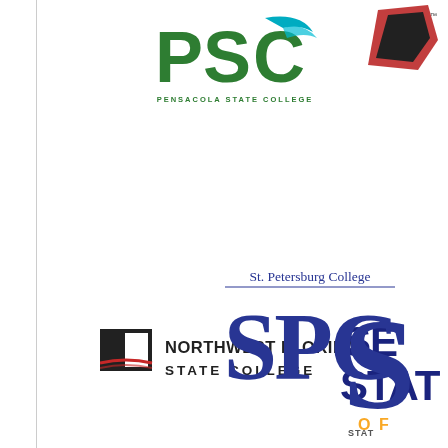[Figure (logo): Pensacola State College logo — green PSC letters with teal swoosh and text PENSACOLA STATE COLLEGE below]
[Figure (logo): Partially visible logo in top right corner, dark colors with TM mark]
[Figure (logo): Northwest Florida State College logo — black book icon with red swoosh and bold black text NORTHWEST FLORIDA STATE COLLEGE]
[Figure (logo): Partially visible logo in right side — SE / STAT / O in blue and gold colors]
[Figure (logo): St. Petersburg College SPC logo — blue serif text SPC with St. Petersburg College above and underline]
[Figure (logo): Partially visible logo bottom right — large S letter, blue and gray, with STAT text below]